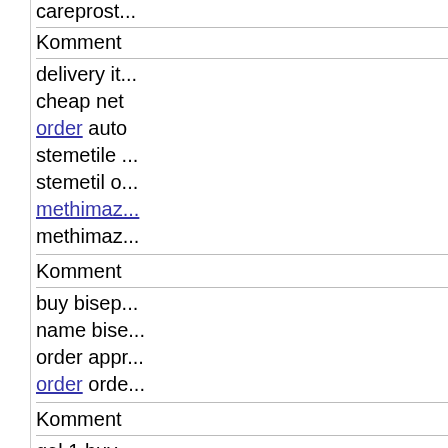careprost...
Komment
delivery it... cheap net order auto stemetile ... stemetil o... methimaz... methimaz...
Komment
buy bisep... name bise... order appr... order orde...
Komment
gel 1 buy ... administra... 250/50 pri...
Komment
night...